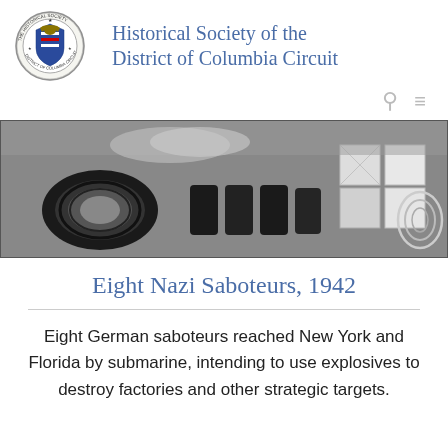Historical Society of the District of Columbia Circuit
[Figure (photo): Black and white photograph of sabotage materials including coiled wire, explosive devices, and blocks of material arranged on a surface]
Eight Nazi Saboteurs, 1942
Eight German saboteurs reached New York and Florida by submarine, intending to use explosives to destroy factories and other strategic targets.